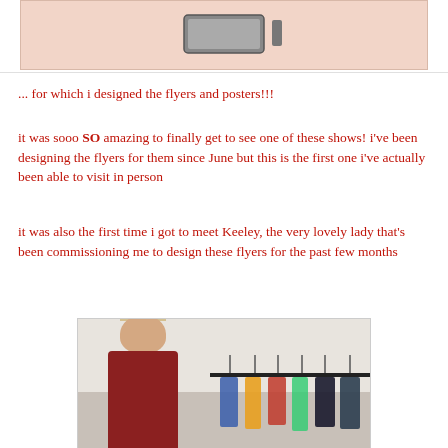[Figure (photo): Top portion of a photo showing a salmon/pink-toned background with what appears to be a camera or electronic device displayed on a light pink/salmon background, partially cropped at top of page]
... for which i designed the flyers and posters!!!
it was sooo SO amazing to finally get to see one of these shows! i've been designing the flyers for them since June but this is the first one i've actually been able to visit in person
it was also the first time i got to meet Keeley, the very lovely lady that's been commissioning me to design these flyers for the past few months
[Figure (photo): Photo of a woman with short blonde hair wearing a dark red/maroon blazer, standing in front of a clothes rack with colorful garments, in what appears to be a shop or boutique setting]